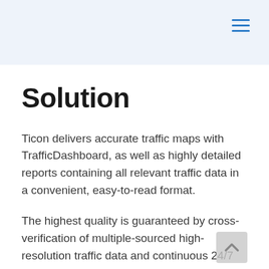Solution
Ticon delivers accurate traffic maps with TrafficDashboard, as well as highly detailed reports containing all relevant traffic data in a convenient, easy-to-read format.
The highest quality is guaranteed by cross-verification of multiple-sourced high-resolution traffic data and continuous 24/7 observation with full spatial coverage and forensic capabilities.
Ticon provides all vital traffic